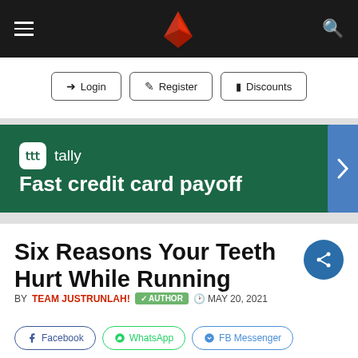JustRunLah! navigation bar with hamburger menu, logo, and search icon
Login | Register | Discounts
[Figure (other): Tally advertisement banner: 'tally - Fast credit card payoff' on dark green background]
Six Reasons Your Teeth Hurt While Running
BY TEAM JUSTRUNLAH! ✓ AUTHOR © MAY 20, 2021
Facebook | WhatsApp | FB Messenger (social share buttons)